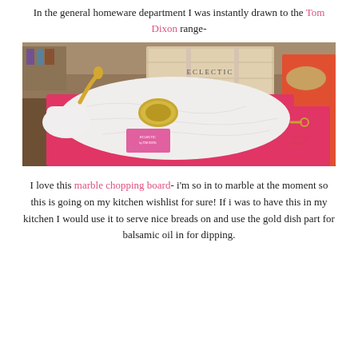In the general homeware department I was instantly drawn to the Tom Dixon range-
[Figure (photo): Photo of Tom Dixon 'Eclectic' range products displayed on hot pink/red boxes. A large white marble oval chopping board with a gold dish sits prominently in the center on a pink box. Behind it is a wooden crate labeled 'ECLECTIC by TOM DIXON'. On the left is a white and gold mortar and pestle. On the right side another pink box is visible with a small gold item. The background shows a store interior.]
I love this marble chopping board- i'm so in to marble at the moment so this is going on my kitchen wishlist for sure! If i was to have this in my kitchen I would use it to serve nice breads on and use the gold dish part for balsamic oil in for dipping.